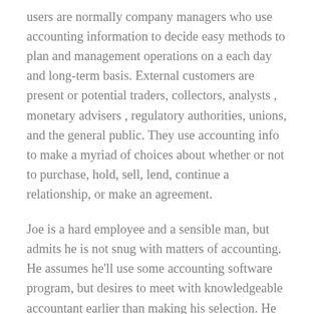users are normally company managers who use accounting information to decide easy methods to plan and management operations on a each day and long-term basis. External customers are present or potential traders, collectors, analysts , monetary advisers , regulatory authorities, unions, and the general public. They use accounting info to make a myriad of choices about whether or not to purchase, hold, sell, lend, continue a relationship, or make an agreement.
Joe is a hard employee and a sensible man, but admits he is not snug with matters of accounting. He assumes he'll use some accounting software program, but desires to meet with knowledgeable accountant earlier than making his selection. He asks his banker to advocate an expert accountant who can also be expert in explaining accounting to somebody without an accounting